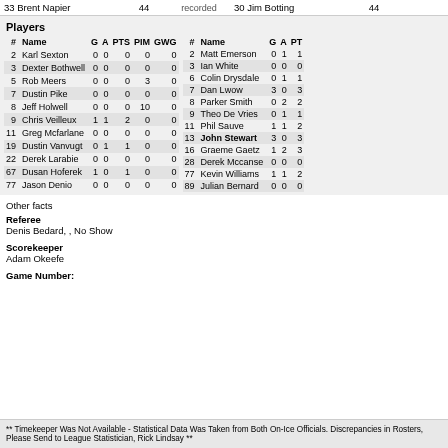33 Brent Napier   44   recorded   30 Jim Botting   44
| # | Name | G | A | PTS | PIM | GWG | # | Name | G | A | PT |
| --- | --- | --- | --- | --- | --- | --- | --- | --- | --- | --- | --- |
| 2 | Karl Sexton | 0 | 0 | 0 | 0 | 0 | 2 | Matt Emerson | 0 | 1 | 1 |
| 3 | Dexter Bothwell | 0 | 0 | 0 | 0 | 0 | 3 | Ian White | 0 | 0 | 0 |
| 5 | Rob Meers | 0 | 0 | 0 | 3 | 0 | 6 | Colin Drysdale | 0 | 1 | 1 |
| 7 | Dustin Pike | 0 | 0 | 0 | 0 | 0 | 7 | Dan Lwow | 3 | 0 | 3 |
| 8 | Jeff Holwell | 0 | 0 | 0 | 10 | 0 | 8 | Parker Smith | 0 | 2 | 2 |
| 9 | Chris Veilleux | 1 | 1 | 2 | 0 | 0 | 9 | Theo De Vries | 0 | 1 | 1 |
| 11 | Greg Mcfarlane | 0 | 0 | 0 | 0 | 0 | 11 | Phil Sauve | 1 | 1 | 2 |
| 19 | Dustin Vanvugt | 0 | 1 | 1 | 0 | 0 | 13 | John Stewart | 3 | 0 | 3 |
| 22 | Derek Larabie | 0 | 0 | 0 | 0 | 0 | 16 | Graeme Gaetz | 1 | 2 | 3 |
| 67 | Dusan Hoferek | 1 | 0 | 1 | 0 | 0 | 28 | Derek Mccanse | 0 | 0 | 0 |
| 77 | Jason Denio | 0 | 0 | 0 | 0 | 0 | 77 | Kevin Williams | 1 | 1 | 2 |
|  |  |  |  |  |  |  | 89 | Julian Bernard | 0 | 0 | 0 |
Other facts
Referee
Denis Bedard, , No Show
Scorekeeper
Adam Okeefe
Game Number:
** Timekeeper Was Not Available - Statistical Data Was Taken from Both On-Ice Officials. Discrepancies in Rosters, Please Send to League Statistician, Rick Lindsay **